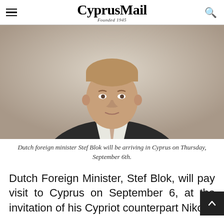CyprusMail Founded 1945
[Figure (photo): Portrait photo of Dutch foreign minister Stef Blok, a tall man in a dark suit with a light tie, in front of a light background.]
Dutch foreign minister Stef Blok will be arriving in Cyprus on Thursday, September 6th.
Dutch Foreign Minister, Stef Blok, will pay visit to Cyprus on September 6, at the invitation of his Cypriot counterpart Nikos